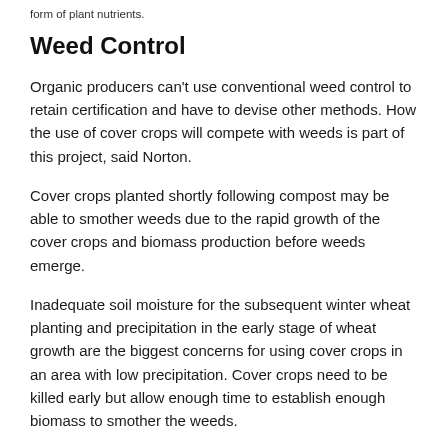form of plant nutrients.
Weed Control
Organic producers can't use conventional weed control to retain certification and have to devise other methods. How the use of cover crops will compete with weeds is part of this project, said Norton.
Cover crops planted shortly following compost may be able to smother weeds due to the rapid growth of the cover crops and biomass production before weeds emerge.
Inadequate soil moisture for the subsequent winter wheat planting and precipitation in the early stage of wheat growth are the biggest concerns for using cover crops in an area with low precipitation. Cover crops need to be killed early but allow enough time to establish enough biomass to smother the weeds.
Soil water content within the first year of the project showed reduced weed biomass and weed species diversity that would normally be present in the bare fallow stage, according to Norton.